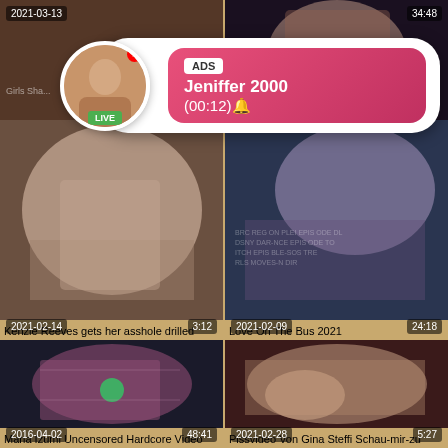[Figure (screenshot): Video thumbnail grid showing adult video content website with timestamps and titles]
ADS Jeniffer 2000 (00:12)
2021-03-13
34:48
Girls Sha...
2021-02-14 | 3:12 | Kenzie Reeves gets her asshole drilled
2021-02-09 | 24:18 | Love On The Bus 2021
2016-04-02 | 48:41 | Mana Izumi Uncensored Hardcore Video
2021-02-28 | 5:27 | Pissvideo Von Gina Steffi Schau-mir-zu